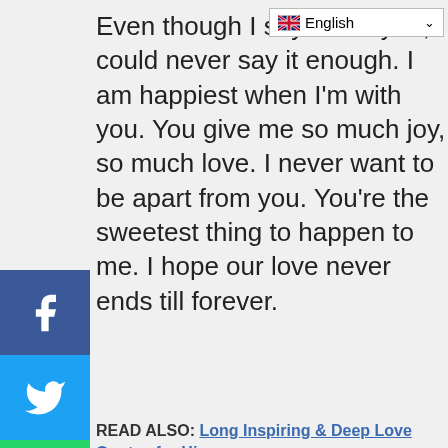Even though I say I love you, I could never say it enough. I am happiest when I'm with you. You give me so much joy, so much love. I never want to be apart from you. You're the sweetest thing to happen to me. I hope our love never ends till forever.
READ ALSO: Long Inspiring & Deep Love Quotes for Him
Romantic Long Paragraphs For Him
[Figure (photo): Dark background with blurred pink/magenta light bokeh effect]